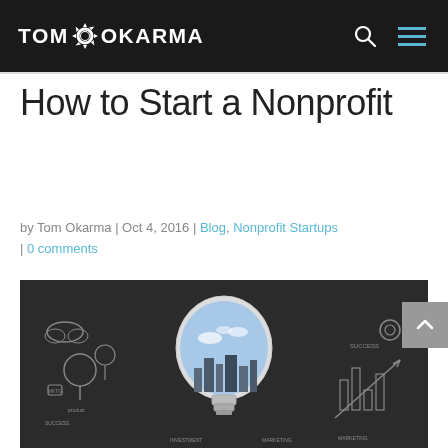TOM OKARMA
How to Start a Nonprofit
by Tom Okarma | Oct 4, 2016 | Blog, Nonprofit Startups | 0 comments
[Figure (photo): Photo of a light bulb drawn on a chalkboard with business/startup doodles around it, revealing a city skyline through the bulb glass]